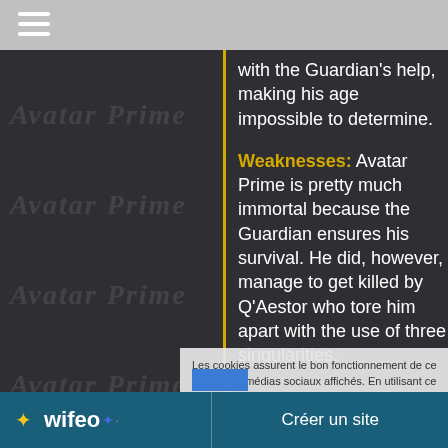[Figure (screenshot): Top gray navigation bar with white hamburger menu icon on the left]
with the Guardian's help, making his age impossible to determine.
Weaknesses:
Avatar Prime is pretty much immortal because the Guardian ensures his survival. He did, however, manage to get killed by Q'Aestor who tore him apart with the use of three singularities.
Les cookies assurent le bon fonctionnement de ce site et des médias sociaux affichés. En utilisant ce dernier, vous acceptez notre utilisation des cookies.
[Figure (logo): Wifeo logo and Créer un site button on teal bottom bar]